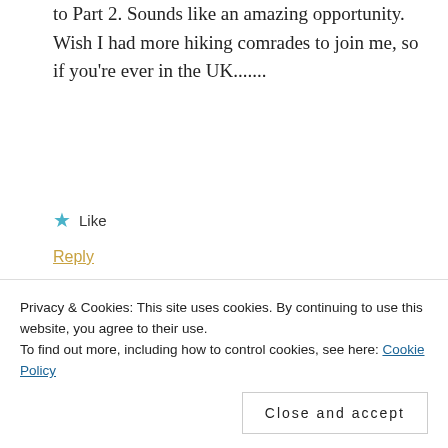to Part 2. Sounds like an amazing opportunity. Wish I had more hiking comrades to join me, so if you're ever in the UK.......
★ Like
Reply
valinreallife@gmail.com says
November 11, 2014 at 6:06 pm
Privacy & Cookies: This site uses cookies. By continuing to use this website, you agree to their use.
To find out more, including how to control cookies, see here: Cookie Policy
Close and accept